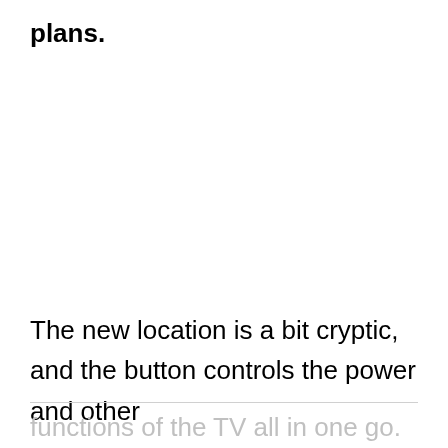plans.
The new location is a bit cryptic, and the button controls the power and other
functions of the TV all in one go. This